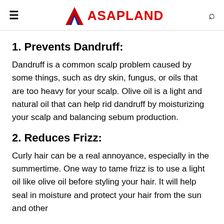ASAPLAND
1. Prevents Dandruff:
Dandruff is a common scalp problem caused by some things, such as dry skin, fungus, or oils that are too heavy for your scalp. Olive oil is a light and natural oil that can help rid dandruff by moisturizing your scalp and balancing sebum production.
2. Reduces Frizz:
Curly hair can be a real annoyance, especially in the summertime. One way to tame frizz is to use a light oil like olive oil before styling your hair. It will help seal in moisture and protect your hair from the sun and other